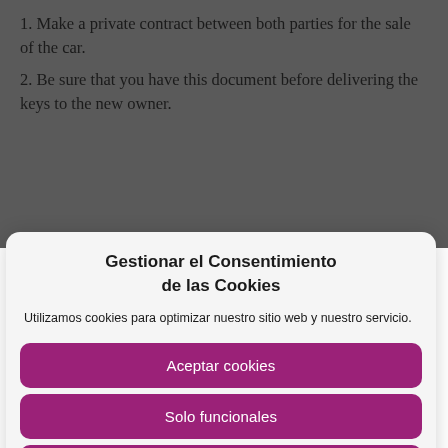1. Make a private contract between both parties for the sale of the car.
2. Be sure that you have this document before delivering the keys to the new owner.
Gestionar el Consentimiento de las Cookies
Utilizamos cookies para optimizar nuestro sitio web y nuestro servicio.
Aceptar cookies
Solo funcionales
Ver preferencias
POLÍTICA DE COOKIES   Política de privacidad   AVÍS LEGAL